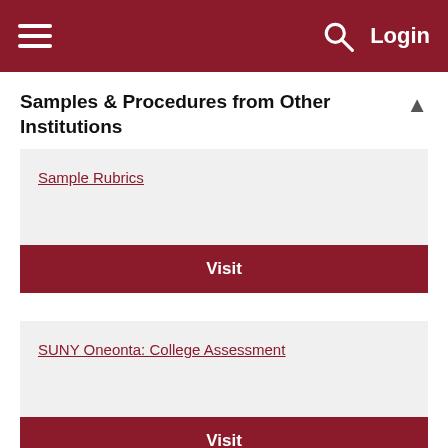Navigation bar with hamburger menu, search icon, and Login
Samples & Procedures from Other Institutions
Sample Rubrics
Visit
SUNY Oneonta: College Assessment
Visit
...mouth College-Academics-...sessment